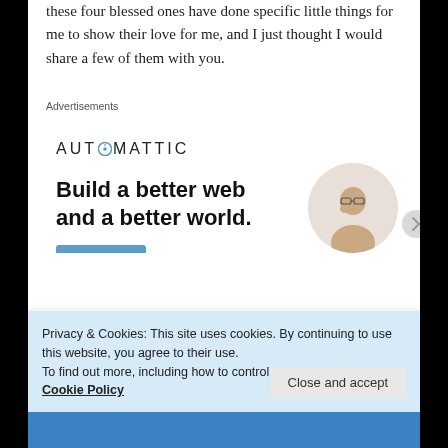these four blessed ones have done specific little things for me to show their love for me, and I just thought I would share a few of them with you.
Advertisements
[Figure (screenshot): Automattic advertisement banner showing logo, headline 'Build a better web and a better world.' and Apply button with person image]
Privacy & Cookies: This site uses cookies. By continuing to use this website, you agree to their use.
To find out more, including how to control cookies, see here: Cookie Policy
Close and accept